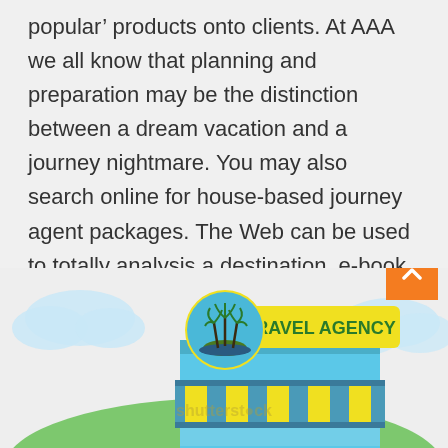popular' products onto clients. At AAA we all know that planning and preparation may be the distinction between a dream vacation and a journey nightmare. You may also search online for house-based journey agent packages. The Web can be used to totally analysis a destination, e-book all elements of the vacation including journey and communicate others who've the same concepts or have been by way of similar experiences.
[Figure (illustration): Colorful flat illustration of a travel agency storefront with a yellow sign reading 'TRAVEL AGENCY', palm tree logo circle, blue and yellow striped awning, and a Shutterstock watermark. An orange back-to-top button with an upward chevron appears in the bottom right.]